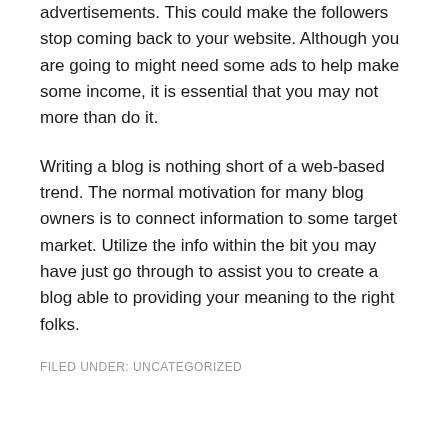advertisements. This could make the followers stop coming back to your website. Although you are going to might need some ads to help make some income, it is essential that you may not more than do it.
Writing a blog is nothing short of a web-based trend. The normal motivation for many blog owners is to connect information to some target market. Utilize the info within the bit you may have just go through to assist you to create a blog able to providing your meaning to the right folks.
FILED UNDER: UNCATEGORIZED